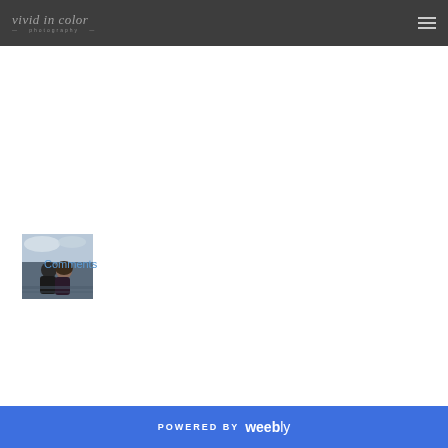vivid in color — photography —
[Figure (photo): Small thumbnail photo of a couple outdoors near water, cloudy sky background, man kissing woman on cheek]
Comments
POWERED BY weebly